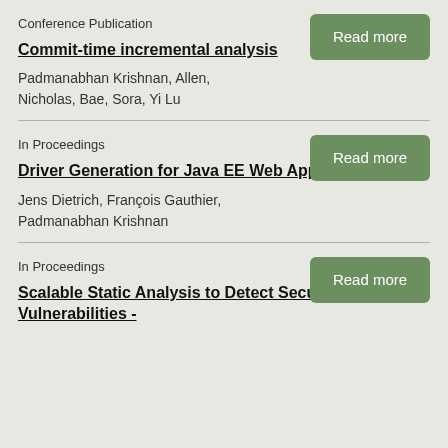Conference Publication
Commit-time incremental analysis
Padmanabhan Krishnan, Allen, Nicholas, Bae, Sora, Yi Lu
In Proceedings
Driver Generation for Java EE Web Applications.
Jens Dietrich, François Gauthier, Padmanabhan Krishnan
In Proceedings
Scalable Static Analysis to Detect Security Vulnerabilities -